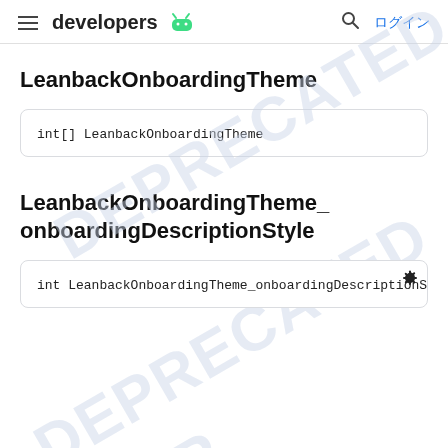developers  ログイン
LeanbackOnboardingTheme
int[] LeanbackOnboardingTheme
LeanbackOnboardingTheme_onboardingDescriptionStyle
int LeanbackOnboardingTheme_onboardingDescriptionSty